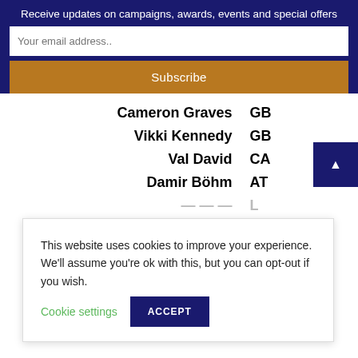Receive updates on campaigns, awards, events and special offers
Your email address..
Subscribe
Cameron Graves  GB
Vikki Kennedy  GB
Val David  CA
Damir Böhm  AT
This website uses cookies to improve your experience. We'll assume you're ok with this, but you can opt-out if you wish.  Cookie settings  ACCEPT